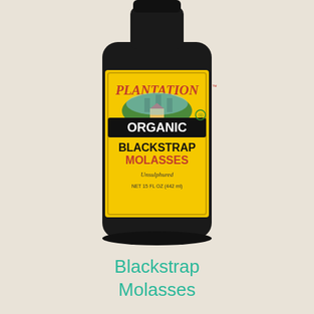[Figure (photo): A bottle of Plantation Organic Blackstrap Molasses with a yellow label showing trees and a house illustration. The label reads PLANTATION Organic BLACKSTRAP MOLASSES Unsulphured NET 15 FL OZ (442 ml).]
Blackstrap Molasses
[Figure (photo): A close-up of a round silver/metal bowl lid or pan top, with embossed text reading 'crafted for quality, sealed for freshness, made in USA'. A pink/magenta circle with '0' and a shopping basket icon overlay appear in the bottom right corner.]
Advertisements
[Figure (photo): Advertisement banner for MAC cosmetics showing colorful lipsticks (purple, peach, pink, red) on the left and right sides, with 'MAC' logo in center and 'SHOP NOW' button.]